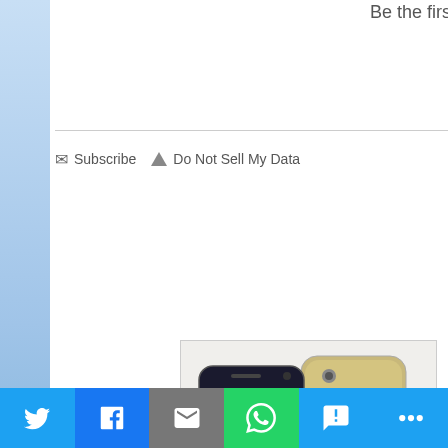Be the first to comment.
✉ Subscribe ▲ Do Not Sell My Data   DISQUS
[Figure (photo): Exxon brand smartphone product photo showing front and back of a gold iPhone-style smartphone with screen showing 6:31 time, with 'Exxon' branding in red text at bottom right, and product feature list on right side]
We use cookies to ensure that we give you the best experience on our website. If you continue to use this site we will assume that you are happy with it.
[Figure (infographic): Social share bar with Twitter, Facebook, Email, WhatsApp, SMS, and More buttons]